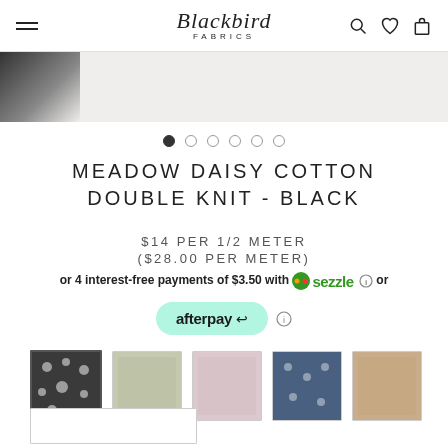Blackbird Fabrics
[Figure (photo): Partial product image showing dark fabric in top corner]
[Figure (other): Carousel navigation dots, 6 total, first one filled/active]
MEADOW DAISY COTTON DOUBLE KNIT - BLACK
$14 PER 1/2 METER
($28.00 PER METER)
or 4 interest-free payments of $3.50 with Sezzle or
[Figure (logo): Afterpay button (mint green pill) and info icon]
[Figure (photo): Row of 5 fabric thumbnail images: black daisy (selected), sage green, light pink, blue daisy, tan/beige]
[Figure (other): Partially visible UI element at bottom of page]